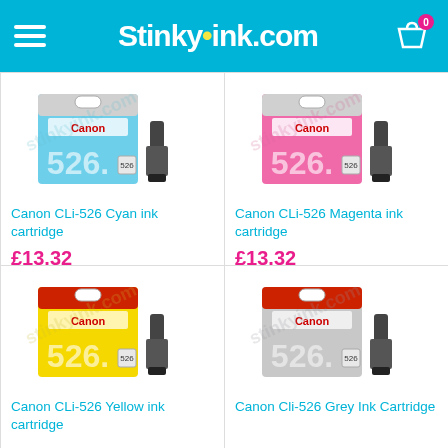Stinkyink.com
[Figure (photo): Canon CLi-526 Cyan ink cartridge product image with cyan packaging showing '526' label and ink cartridge]
Canon CLi-526 Cyan ink cartridge
£13.32
[Figure (photo): Canon CLi-526 Magenta ink cartridge product image with magenta packaging showing '526' label and ink cartridge]
Canon CLi-526 Magenta ink cartridge
£13.32
[Figure (photo): Canon CLi-526 Yellow ink cartridge product image with yellow packaging showing '526' label and ink cartridge]
Canon CLi-526 Yellow ink cartridge
[Figure (photo): Canon Cli-526 Grey Ink Cartridge product image with grey packaging showing '526' label and ink cartridge]
Canon Cli-526 Grey Ink Cartridge